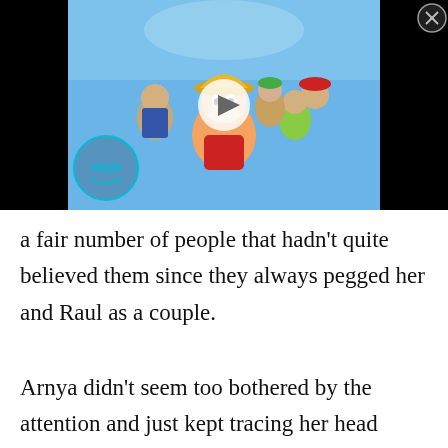[Figure (screenshot): Video thumbnail showing anime characters (One Piece) with a play button overlay and WatchMojo logo badge. Black background on sides.]
a fair number of people that hadn't quite believed them since they always pegged her and Raul as a couple.
Arnya didn't seem too bothered by the attention and just kept tracing her head around like it was